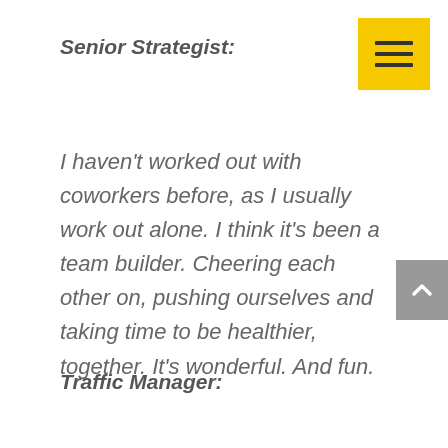Senior Strategist:
I haven't worked out with coworkers before, as I usually work out alone. I think it's been a team builder. Cheering each other on, pushing ourselves and taking time to be healthier, together. It's wonderful. And fun.
Traffic Manager: